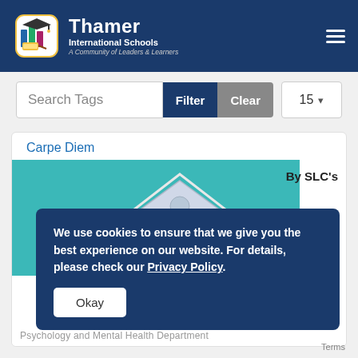Thamer International Schools — A Community of Leaders & Learners
Search Tags
Filter  Clear  15
Carpe Diem
[Figure (illustration): Teal background with architectural triangular pediment image and 'By SLC's' text overlay]
We use cookies to ensure that we give you the best experience on our website. For details, please check our Privacy Policy.
Okay
Psychology and Mental Health Department
Terms